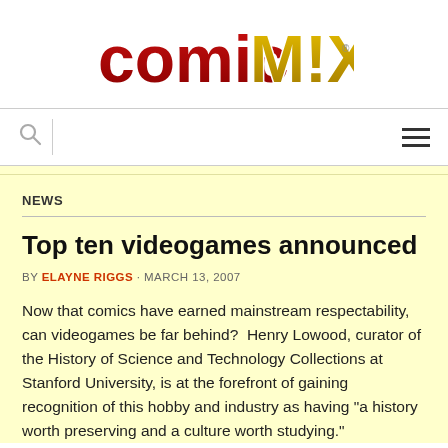[Figure (logo): ComicMix logo in red and gold gradient letters]
NEWS
Top ten videogames announced
BY ELAYNE RIGGS · MARCH 13, 2007
Now that comics have earned mainstream respectability, can videogames be far behind?  Henry Lowood, curator of the History of Science and Technology Collections at Stanford University, is at the forefront of gaining recognition of this hobby and industry as having "a history worth preserving and a culture worth studying."